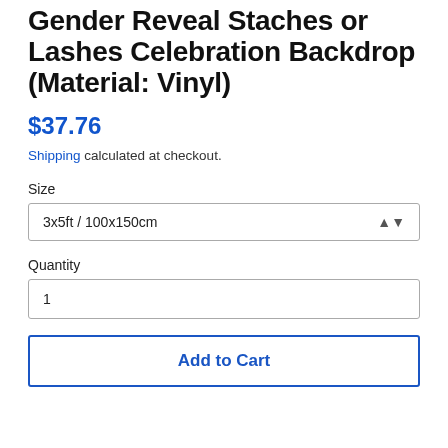Gender Reveal Staches or Lashes Celebration Backdrop (Material: Vinyl)
$37.76
Shipping calculated at checkout.
Size
3x5ft / 100x150cm
Quantity
1
Add to Cart